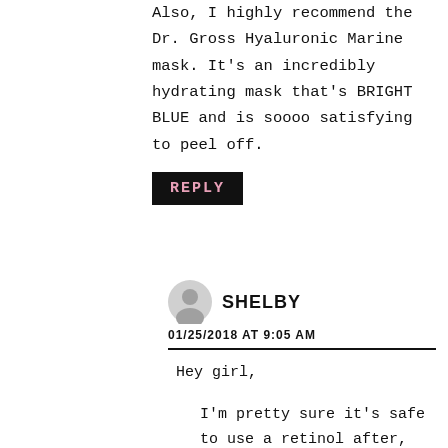Also, I highly recommend the Dr. Gross Hyaluronic Marine mask. It's an incredibly hydrating mask that's BRIGHT BLUE and is soooo satisfying to peel off.
REPLY
SHELBY
01/25/2018 AT 9:05 AM
Hey girl,
I'm pretty sure it's safe to use a retinol after, but you should wait at least 30 min to let the